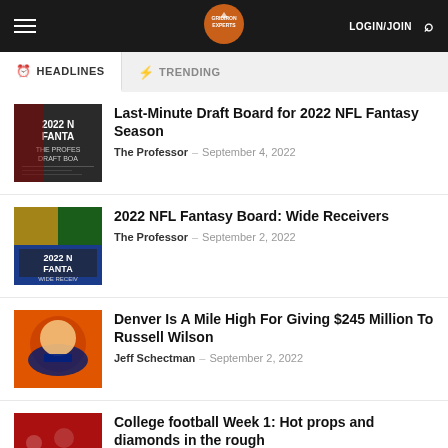LOGIN/JOIN
HEADLINES   TRENDING
Last-Minute Draft Board for 2022 NFL Fantasy Season
The Professor – September 4, 2022
2022 NFL Fantasy Board: Wide Receivers
The Professor – September 2, 2022
Denver Is A Mile High For Giving $245 Million To Russell Wilson
Jeff Schectman – September 2, 2022
College football Week 1: Hot props and diamonds in the rough
Mario Sanelli – September 2, 2022